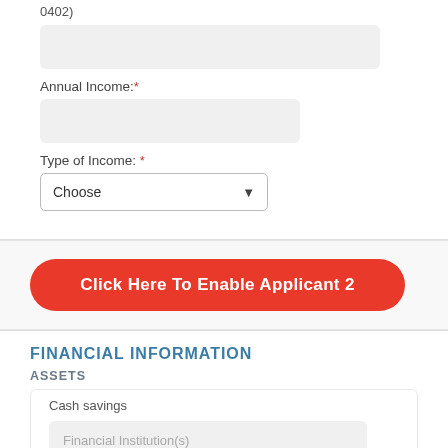0402)
Annual Income: *
Type of Income: *
Choose
Click Here To Enable Applicant 2
FINANCIAL INFORMATION
ASSETS
Cash savings
Financial Institution(s)
Amount/Value ($)